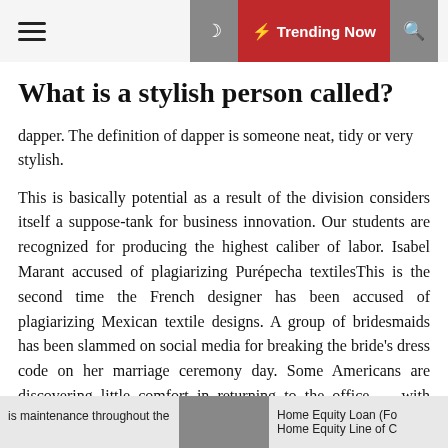≡  🌙  ⚡ Trending Now  🔍
What is a stylish person called?
dapper. The definition of dapper is someone neat, tidy or very stylish.
This is basically potential as a result of the division considers itself a suppose-tank for business innovation. Our students are recognized for producing the highest caliber of labor. Isabel Marant accused of plagiarizing Purépecha textilesThis is the second time the French designer has been accused of plagiarizing Mexican textile designs. A group of bridesmaids has been slammed on social media for breaking the bride's dress code on her marriage ceremony day. Some Americans are discovering little comfort in returning to the office — with retailers reporting a rise in the sale of dressy clothes, including
is maintenance throughout the      Home Equity Loan (Fo  Home Equity Line of C